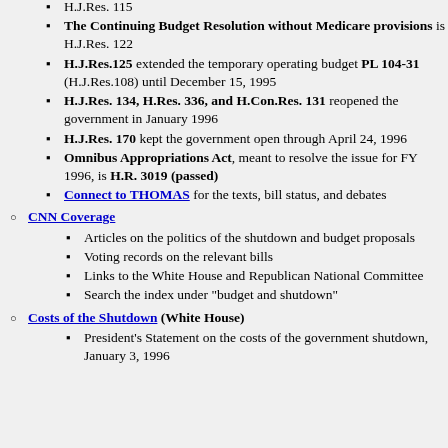H.J.Res. 115
The Continuing Budget Resolution without Medicare provisions is H.J.Res. 122
H.J.Res.125 extended the temporary operating budget PL 104-31 (H.J.Res.108) until December 15, 1995
H.J.Res. 134, H.Res. 336, and H.Con.Res. 131 reopened the government in January 1996
H.J.Res. 170 kept the government open through April 24, 1996
Omnibus Appropriations Act, meant to resolve the issue for FY 1996, is H.R. 3019 (passed)
Connect to THOMAS for the texts, bill status, and debates
CNN Coverage
Articles on the politics of the shutdown and budget proposals
Voting records on the relevant bills
Links to the White House and Republican National Committee
Search the index under "budget and shutdown"
Costs of the Shutdown (White House)
President's Statement on the costs of the government shutdown, January 3, 1996